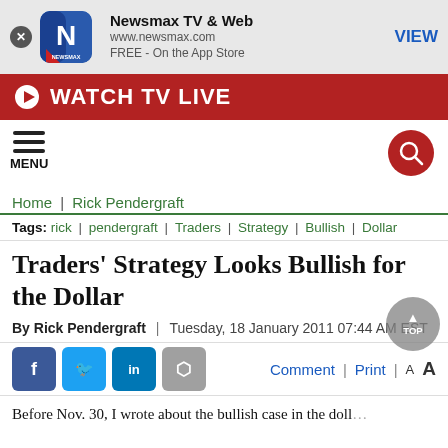[Figure (screenshot): Newsmax app banner with logo, app name 'Newsmax TV & Web', URL www.newsmax.com, FREE - On the App Store, and VIEW button]
WATCH TV LIVE
[Figure (screenshot): Navigation bar with hamburger menu icon labeled MENU and a red circular search icon]
Home | Rick Pendergraft
Tags: rick | pendergraft | Traders | Strategy | Bullish | Dollar
Traders' Strategy Looks Bullish for the Dollar
By Rick Pendergraft  |  Tuesday, 18 January 2011 07:44 AM EST
Comment | Print | A A
Body text beginning: Before Nov. 30, I wrote about the bullish case in the dollar...